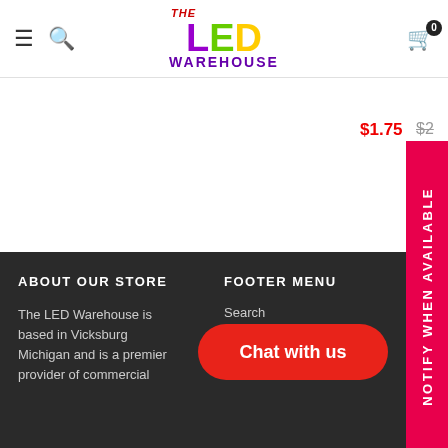[Figure (logo): The LED Warehouse logo with colorful LED letters and purple WAREHOUSE text]
$6.95
SureFire 123A Lithium B
$1.75  $2...
NOTIFY WHEN AVAILABLE
ABOUT OUR STORE
The LED Warehouse is based in Vicksburg Michigan and is a premier provider of commercial
FOOTER MENU
Search
About
Contact Us
Chat with us